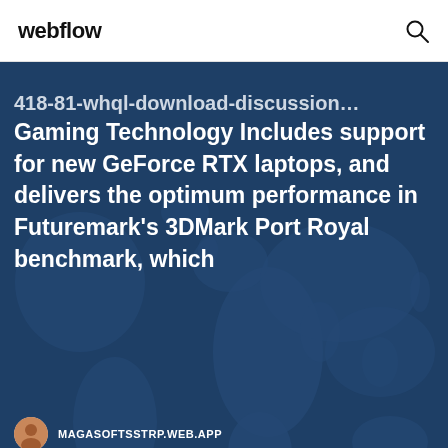webflow
418-81-whql-download-discussion... Gaming Technology Includes support for new GeForce RTX laptops, and delivers the optimum performance in Futuremark's 3DMark Port Royal benchmark, which
MAGASOFTSSTRP.WEB.APP
Minecraft story mode save file download